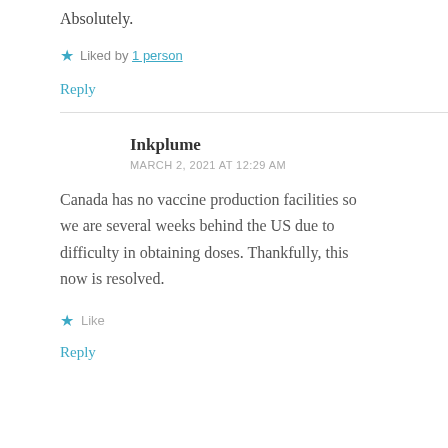Absolutely.
★ Liked by 1 person
Reply
Inkplume
MARCH 2, 2021 AT 12:29 AM
Canada has no vaccine production facilities so we are several weeks behind the US due to difficulty in obtaining doses. Thankfully, this now is resolved.
★ Like
Reply